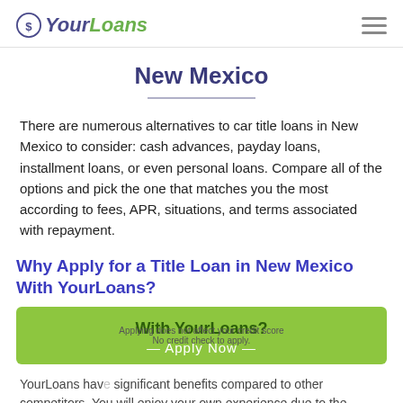YourLoans
New Mexico
There are numerous alternatives to car title loans in New Mexico to consider: cash advances, payday loans, installment loans, or even personal loans. Compare all of the options and pick the one that matches you the most according to fees, APR, situations, and terms associated with repayment.
Why Apply for a Title Loan in New Mexico With YourLoans?
[Figure (other): Green apply now button with text 'With YourLoans? Apply Now' and overlay text 'Applying does not affect your credit score' and 'No credit check to apply.']
YourLoans have significant benefits compared to other competitors. You will enjoy your own experience due to the